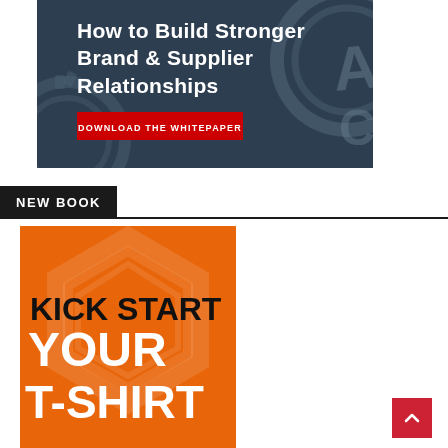[Figure (illustration): Advertisement banner showing gears background with white text 'How to Build Stronger Brand & Supplier Relationships' and a red button 'DOWNLOAD THE WHITEPAPER']
NEW BOOK
[Figure (illustration): Orange book cover with text 'KICK START YOUR T-SHIRT' in bold black and white letters on orange background with geometric shape]